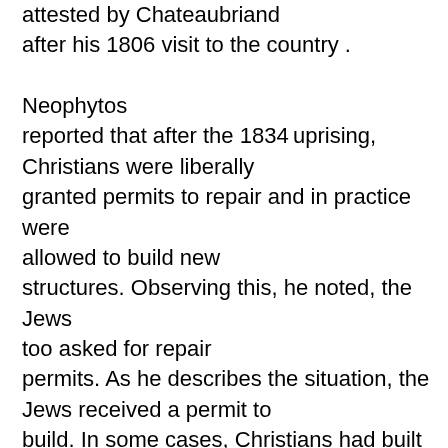attested by Chateaubriand after his 1806 visit to the country . Neophytos reported that after the 1834 uprising, Christians were liberally granted permits to repair and in practice were allowed to build new structures. Observing this, he noted, the Jews too asked for repair permits. As he describes the situation, the Jews received a permit to build. In some cases, Christians had built new structures without specific permission, since they were in practice allowed to do so.